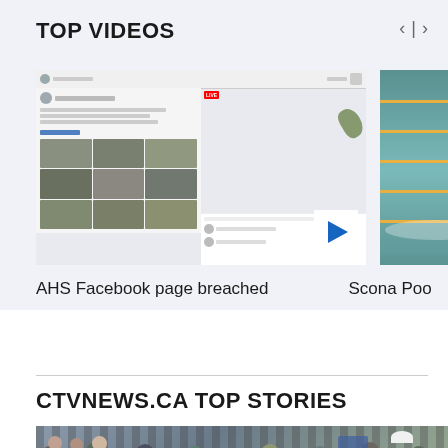TOP VIDEOS
[Figure (screenshot): AHS Facebook page screenshot showing a live video of what appears to be a nature scene, with a photo grid on the left side of the page. A play button overlay is visible in the lower right of the thumbnail.]
[Figure (photo): Scona Pool thumbnail showing a swimming pool with lane dividers and a swimmer.]
AHS Facebook page breached
Scona Poo
CTVNEWS.CA TOP STORIES
[Figure (photo): Crowd of people at an outdoor event or gathering, partial view cut off at the bottom of the page.]